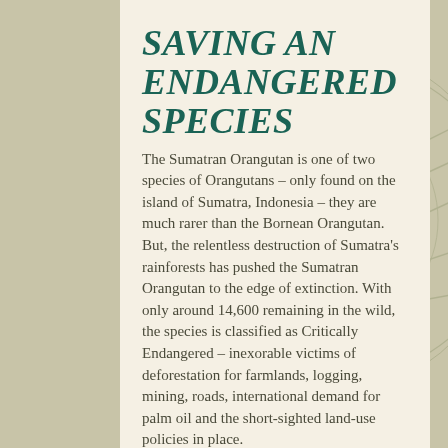SAVING AN ENDANGERED SPECIES
The Sumatran Orangutan is one of two species of Orangutans – only found on the island of Sumatra, Indonesia – they are much rarer than the Bornean Orangutan. But, the relentless destruction of Sumatra's rainforests has pushed the Sumatran Orangutan to the edge of extinction. With only around 14,600 remaining in the wild, the species is classified as Critically Endangered – inexorable victims of deforestation for farmlands, logging, mining, roads, international demand for palm oil and the short-sighted land-use policies in place. The Leuser Ecosystem is the last stronghold of the species and the